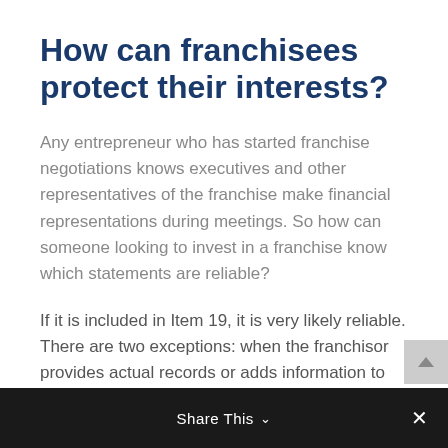How can franchisees protect their interests?
Any entrepreneur who has started franchise negotiations knows executives and other representatives of the franchise make financial representations during meetings. So how can someone looking to invest in a franchise know which statements are reliable?
If it is included in Item 19, it is very likely reliable. There are two exceptions: when the franchisor provides actual records or adds information to Item 19 during the negotiation process.
Share This ∨  ×